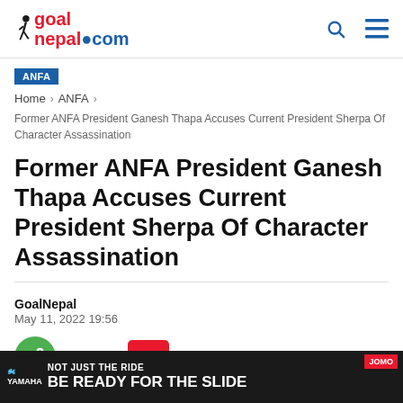goalnepal.com
ANFA
Home > ANFA
Former ANFA President Ganesh Thapa Accuses Current President Sherpa Of Character Assassination
Former ANFA President Ganesh Thapa Accuses Current President Sherpa Of Character Assassination
GoalNepal
May 11, 2022 19:56
[Figure (other): Yamaha advertisement banner: NOT JUST THE RIDE BE READY FOR THE SLIDE]